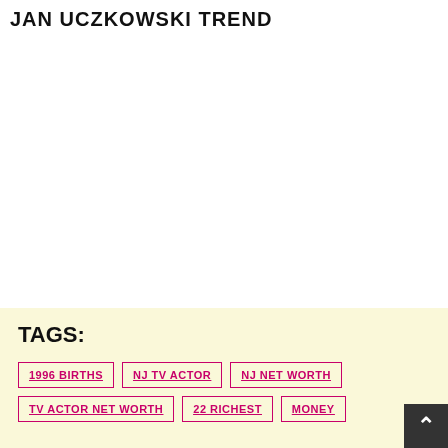JAN UCZKOWSKI TREND
TAGS:
1996 BIRTHS
NJ TV ACTOR
NJ NET WORTH
TV ACTOR NET WORTH
22 RICHEST
MONEY